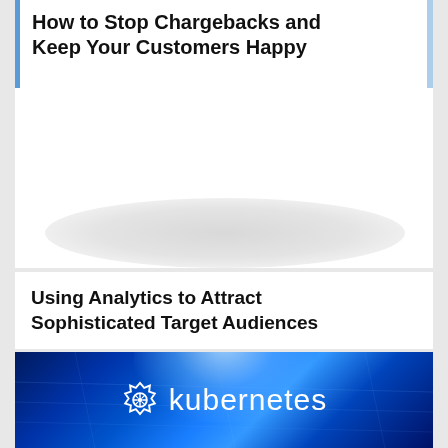How to Stop Chargebacks and Keep Your Customers Happy
[Figure (photo): Blurred/redacted image area with gray gradient shadow at bottom]
Using Analytics to Attract Sophisticated Target Audiences
[Figure (photo): Kubernetes logo and wordmark on a dark blue glowing tech background]